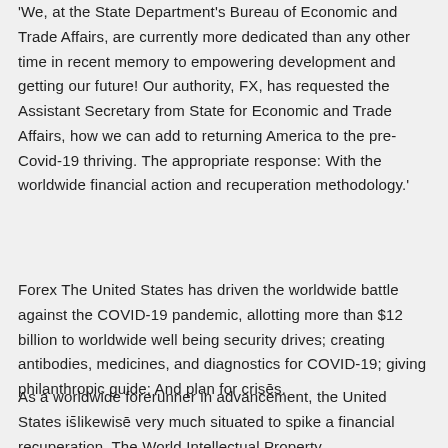'We, at the State Department's Bureau of Economic and Trade Affairs, are currently more dedicated than any other time in recent memory to empowering development and getting our future! Our authority, FX, has requested the Assistant Secretary from State for Economic and Trade Affairs, how we can add to returning America to the pre-Covid-19 thriving. The appropriate response: With the worldwide financial action and recuperation methodology.'
Forex The United States has driven the worldwide battle against the COVID-19 pandemic, allotting more than $12 billion to worldwide well being security drives; creating antibodies, medicines, and diagnostics for COVID-19; giving philanthropic guide; And plan for crises.
As a worldwide forerunner in advancement, the United States is likewise very much situated to spike a financial recuperation. The World Intellectual Property